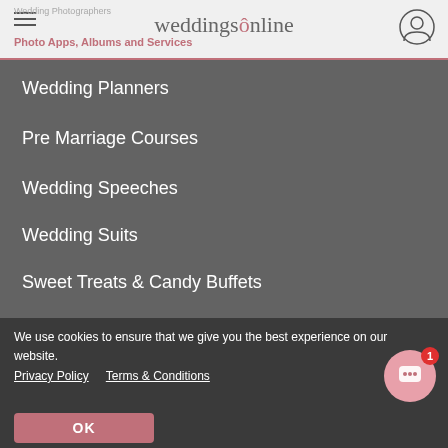weddingsonline
Wedding Photographers
Photo Apps, Albums and Services
Wedding Planners
Pre Marriage Courses
Wedding Speeches
Wedding Suits
Sweet Treats & Candy Buffets
Wedding Videographers
Wedding Accessories and Occasion
Dearbhaile from weddings...
Hi, I'm Dearbhaile, your totally free wedding...
[Figure (photo): Chat avatar photo of a woman]
We use cookies to ensure that we give you the best experience on our website.
Privacy Policy   Terms & Conditions
OK